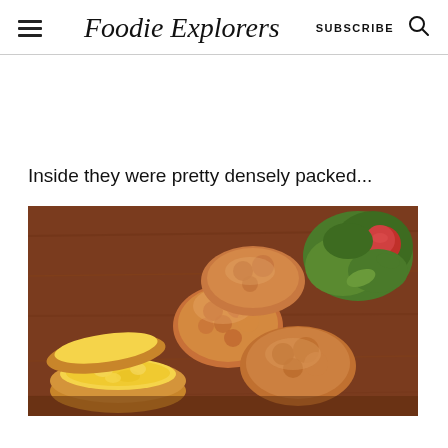Foodie Explorers | SUBSCRIBE
Inside they were pretty densely packed...
[Figure (photo): Close-up photo of food items on a wooden board: halved bread rolls showing a yellow crumb interior on the left, and what appears to be fried or baked seafood/shrimp cakes on the right, with a green salad and tomatoes visible in the background]